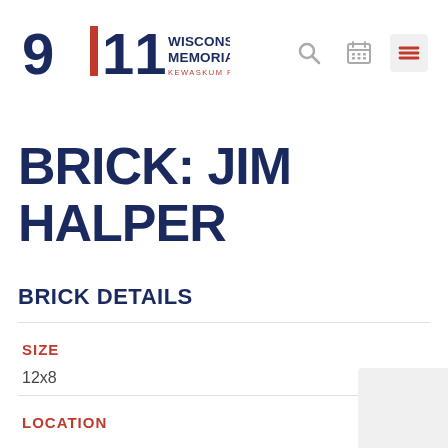[Figure (logo): 9/11 Wisconsin Memorial logo — Kewaskum Remembers — with navigation icons (search, calendar, menu)]
BRICK: JIM HALPER
BRICK DETAILS
SIZE
12x8
LOCATION